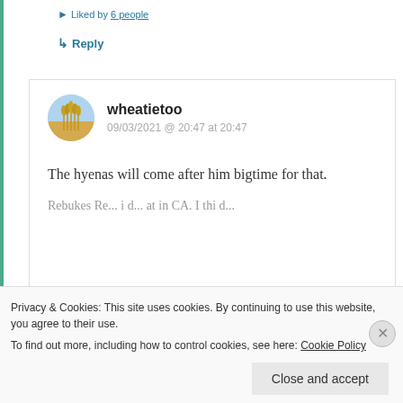Liked by 6 people
Reply
wheatietoo
09/03/2021 @ 20:47 at 20:47
The hyenas will come after him bigtime for that.
Privacy & Cookies: This site uses cookies. By continuing to use this website, you agree to their use. To find out more, including how to control cookies, see here: Cookie Policy
Close and accept